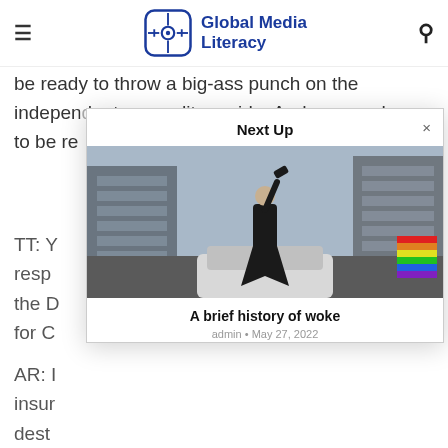Global Media Literacy
be ready to throw a big-ass punch on the independent expenditure side. And now we have to be re
TT: Y
resp
the D
for C
AR: I
insur
dest
my t
Next Up
[Figure (photo): Person standing on top of a car in an urban street, raising a hammer or object overhead, with buildings on both sides and a rainbow flag visible on the right]
A brief history of woke
admin • May 27, 2022